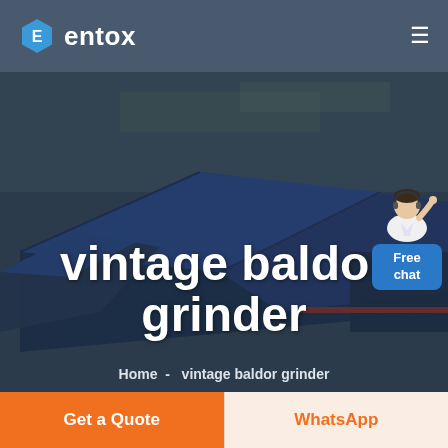entox
[Figure (photo): Aerial view of a large industrial factory complex with blue-roofed buildings, photographed from above, with a dark blue overlay tint. The text 'vintage baldor grinder' is overlaid in large white bold font, and a breadcrumb navigation 'Home  -  vintage baldor grinder' appears below.]
[Figure (illustration): Free chat widget: a customer service agent illustration (person in white shirt with headset) above a blue rounded rectangle button labeled 'Free chat']
vintage baldor grinder
Home  -  vintage baldor grinder
Get a Quote
WhatsApp